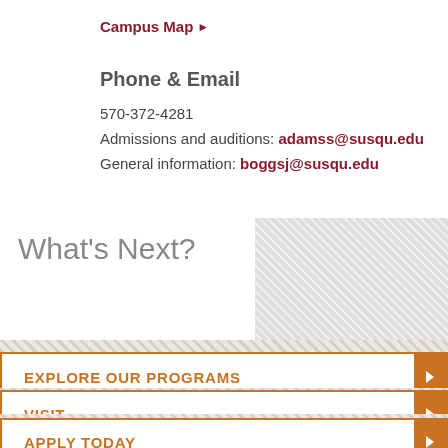Campus Map ▶
Phone & Email
570-372-4281
Admissions and auditions: adamss@susqu.edu
General information: boggsj@susqu.edu
What's Next?
EXPLORE OUR PROGRAMS
VISIT
APPLY TODAY